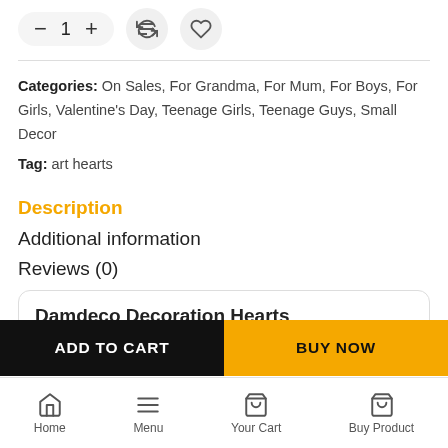Categories: On Sales, For Grandma, For Mum, For Boys, For Girls, Valentine's Day, Teenage Girls, Teenage Guys, Small Decor
Tag: art hearts
Description
Additional information
Reviews (0)
Damdeco Decoration Hearts
ADD TO CART
BUY NOW
Home  Menu  Your Cart  Buy Product